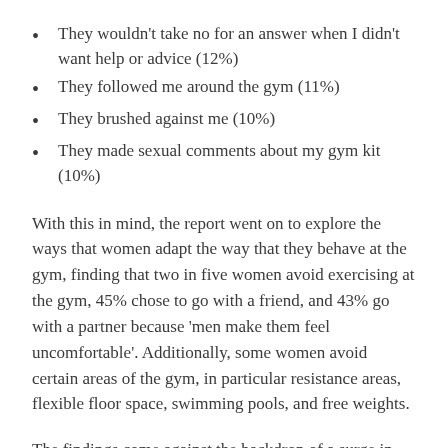They wouldn't take no for an answer when I didn't want help or advice (12%)
They followed me around the gym (11%)
They brushed against me (10%)
They made sexual comments about my gym kit (10%)
With this in mind, the report went on to explore the ways that women adapt the way that they behave at the gym, finding that two in five women avoid exercising at the gym, 45% chose to go with a friend, and 43% go with a partner because ‘men make them feel uncomfortable’. Additionally, some women avoid certain areas of the gym, in particular resistance areas, flexible floor space, swimming pools, and free weights.
The findings come against the backdrop of a surge in searches for women’s only gyms, with 31% of women